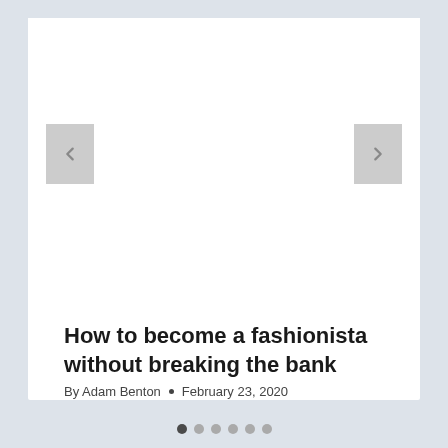[Figure (other): Carousel/slideshow image area with left and right navigation arrow buttons on a white card background]
How to become a fashionista without breaking the bank
By Adam Benton • February 23, 2020